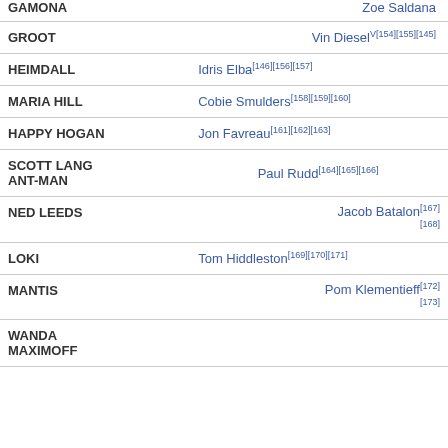| Character | Actor |
| --- | --- |
| GAMORA | Zoe Saldana |
| GROOT | Vin DieselV[154][155][145] |
| HEIMDALL | Idris Elba[146][156][157] |
| MARIA HILL | Cobie Smulders[158][159][160] |
| HAPPY HOGAN | Jon Favreau[161][162][163] |
| SCOTT LANG / ANT-MAN | Paul Rudd[164][165][166] |
| NED LEEDS | Jacob Batalon[167][168] |
| LOKI | Tom Hiddleston[169][170][171] |
| MANTIS | Pom Klementieff[172][173] |
| WANDA MAXIMOFF |  |